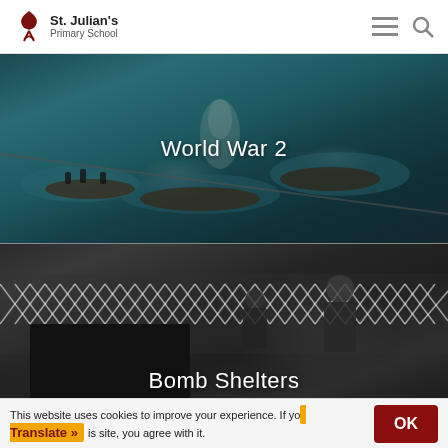St. Julian's Primary School
[Figure (photo): World War 2 header image showing boats and figures in water, dark teal tones]
World War 2
[Figure (photo): Black and white photo showing men near an Anderson bomb shelter with a lattice fence in background]
Bomb Shelters
This website uses cookies to improve your experience. If you use this site, you agree with it.
Translate »
OK